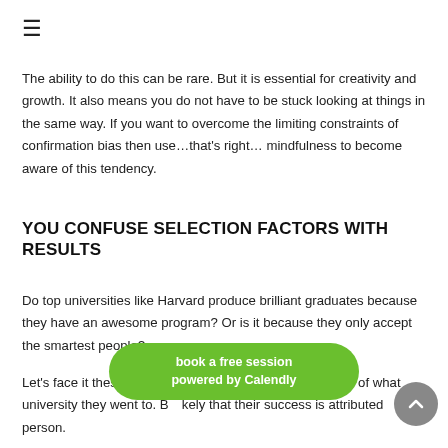≡
The ability to do this can be rare. But it is essential for creativity and growth. It also means you do not have to be stuck looking at things in the same way. If you want to overcome the limiting constraints of confirmation bias then use…that's right… mindfulness to become aware of this tendency.
YOU CONFUSE SELECTION FACTORS WITH RESULTS
Do top universities like Harvard produce brilliant graduates because they have an awesome program? Or is it because they only accept the smartest people?
Let's face it these people would be successful regardless of what university they went to. But it's more likely that their success is attributed to the person.
[Figure (other): Green pill-shaped button reading 'book a free session powered by Calendly' overlaid on the page bottom, with a grey circular scroll-to-top button to its right.]